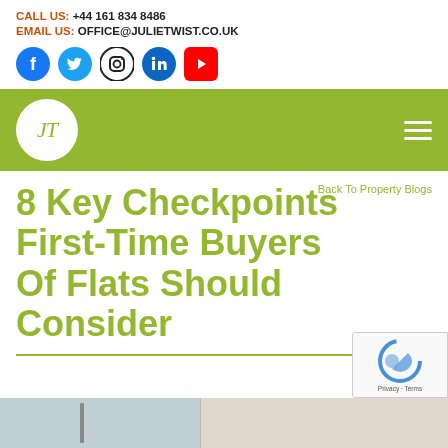CALL US: +44 161 834 8486
EMAIL US: OFFICE@JULIETWIST.CO.UK
[Figure (logo): Social media icons: Facebook, Twitter, Instagram, LinkedIn, YouTube]
[Figure (logo): JT logo (Julie Twist) in white circle on green navigation bar with hamburger menu]
Back To Property Blogs
8 Key Checkpoints First-Time Buyers Of Flats Should Consider